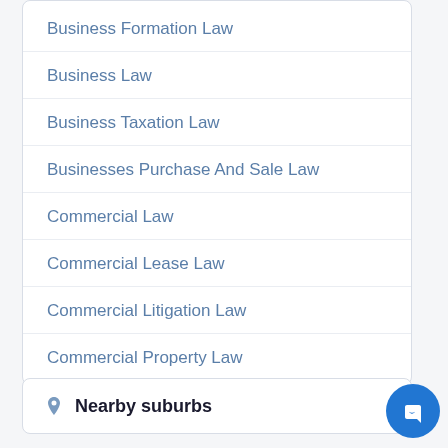Business Formation Law
Business Law
Business Taxation Law
Businesses Purchase And Sale Law
Commercial Law
Commercial Lease Law
Commercial Litigation Law
Commercial Property Law
Nearby suburbs